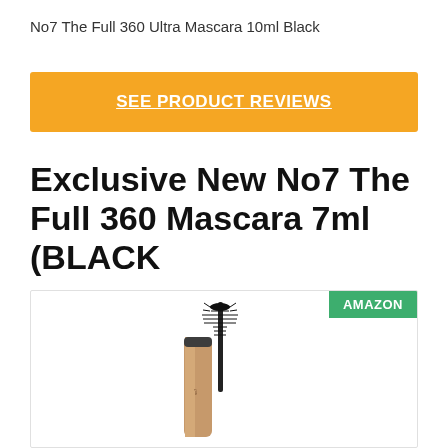No7 The Full 360 Ultra Mascara 10ml Black
SEE PRODUCT REVIEWS
Exclusive New No7 The Full 360 Mascara 7ml (BLACK
[Figure (photo): Product image of No7 The Full 360 mascara tube and wand/brush against a white background, with an AMAZON badge in green in the top right corner of the image box.]